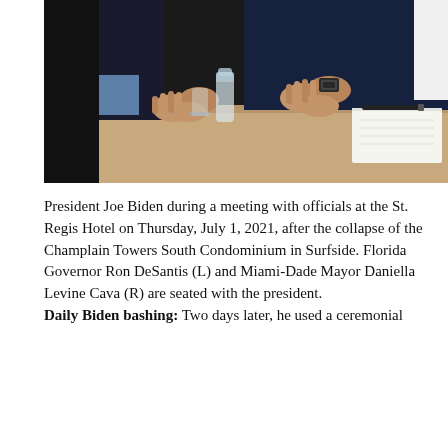[Figure (photo): Photo of people seated at a table during a meeting. The image shows hands and upper bodies of people in suits seated around a wooden table. A water bottle, glass, notebook and pen are visible on the table.]
President Joe Biden during a meeting with officials at the St. Regis Hotel on Thursday, July 1, 2021, after the collapse of the Champlain Towers South Condominium in Surfside. Florida Governor Ron DeSantis (L) and Miami-Dade Mayor Daniella Levine Cava (R) are seated with the president. Daily Biden bashing: Two days later, he used a ceremonial